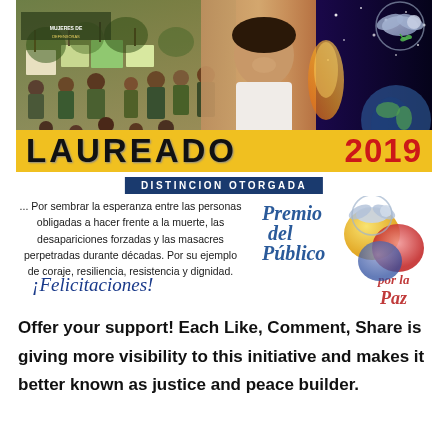[Figure (photo): Top banner with protest crowd on left, smiling woman in center, dark starry background on right with peace dove logo]
LAUREADO  2019
DISTINCION OTORGADA
... Por sembrar la esperanza entre las personas obligadas a hacer frente a la muerte, las desapariciones forzadas y las masacres perpetradas durante décadas. Por su ejemplo de coraje, resiliencia, resistencia y dignidad.
[Figure (logo): Premio del Público por la Paz globe/orb peace award logo with dove]
¡Felicitaciones!
Offer your support! Each Like, Comment, Share is giving more visibility to this initiative and makes it better known as justice and peace builder.